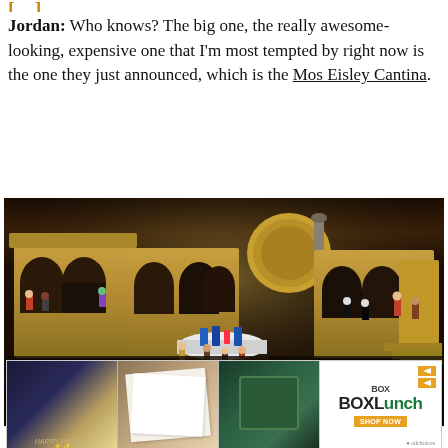Jordan: Who knows? The big one, the really awesome-looking, expensive one that I'm most tempted by right now is the one they just announced, which is the Mos Eisley Cantina.
[Figure (photo): LEGO Mos Eisley Cantina set photograph showing the detailed tan/beige building exterior with multiple arched rooms, various Star Wars minifigures including aliens and humans, a central bar area with blue liquid containers, and a dark reflective surface base. The set is displayed against a dark background.]
Image Credit: LEGO
[Figure (photo): Advertisement banner for BoxLunch showing three product images: a Harry Potter Hogwarts collectible, white card/paper merchandise, and green Slytherin merchandise. BoxLunch logo on the right with orange arrows and Shop Now button.]